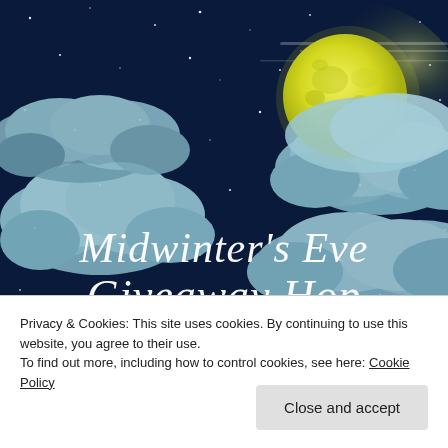[Figure (illustration): Illustrated night sky scene with dark blue background, stars, stylized clouds in blue-grey tones, and a large glowing yellow full moon partially obscured by clouds. Text overlay reads 'Midwinter's Eve Giveaway Hop' in white cursive/script font.]
Privacy & Cookies: This site uses cookies. By continuing to use this website, you agree to their use.
To find out more, including how to control cookies, see here: Cookie Policy